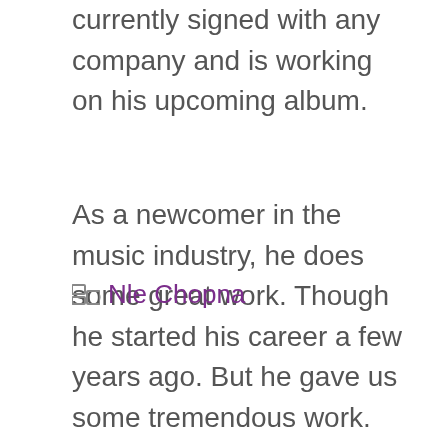currently signed with any company and is working on his upcoming album.
As a newcomer in the music industry, he does some great work. Though he started his career a few years ago. But he gave us some tremendous work.
Categories: Nle Choppa